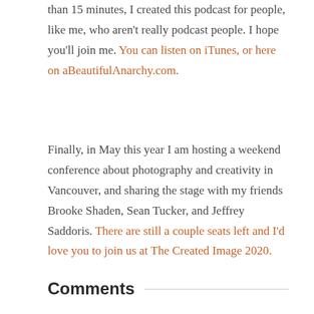than 15 minutes, I created this podcast for people, like me, who aren't really podcast people. I hope you'll join me. You can listen on iTunes, or here on aBeautifulAnarchy.com.
Finally, in May this year I am hosting a weekend conference about photography and creativity in Vancouver, and sharing the stage with my friends Brooke Shaden, Sean Tucker, and Jeffrey Saddoris. There are still a couple seats left and I'd love you to join us at The Created Image 2020.
Comments